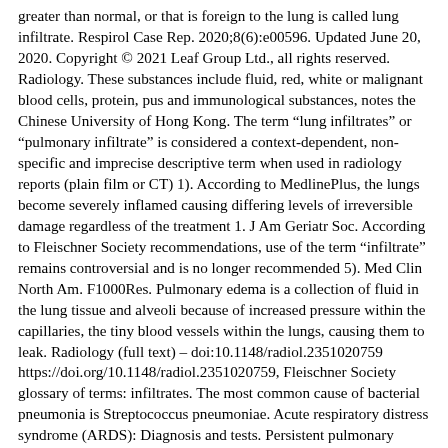greater than normal, or that is foreign to the lung is called lung infiltrate. Respirol Case Rep. 2020;8(6):e00596. Updated June 20, 2020. Copyright © 2021 Leaf Group Ltd., all rights reserved. Radiology. These substances include fluid, red, white or malignant blood cells, protein, pus and immunological substances, notes the Chinese University of Hong Kong. The term "lung infiltrates" or "pulmonary infiltrate" is considered a context-dependent, non-specific and imprecise descriptive term when used in radiology reports (plain film or CT) 1). According to MedlinePlus, the lungs become severely inflamed causing differing levels of irreversible damage regardless of the treatment 1. J Am Geriatr Soc. According to Fleischner Society recommendations, use of the term "infiltrate" remains controversial and is no longer recommended 5). Med Clin North Am. F1000Res. Pulmonary edema is a collection of fluid in the lung tissue and alveoli because of increased pressure within the capillaries, the tiny blood vessels within the lungs, causing them to leak. Radiology (full text) – doi:10.1148/radiol.2351020759 https://doi.org/10.1148/radiol.2351020759, Fleischner Society glossary of terms: infiltrates. The most common cause of bacterial pneumonia is Streptococcus pneumoniae. Acute respiratory distress syndrome (ARDS): Diagnosis and tests. Persistent pulmonary infiltrate results when a substance denser than air (e.g., pus, edema, blood, surfactant, protein, or cells) lingers within the lung parenchyma. The "I" word in chest radiography. ( in'fil-trāt, in-fil'trāt ), 1. "what are inflammatory and fibrotic lung disorders?"